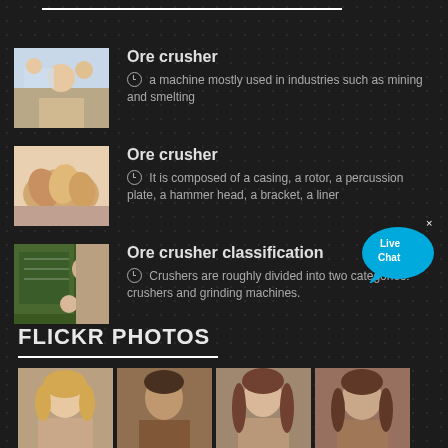[Figure (photo): Business meeting photo - woman with laptop]
Ore crusher
a machine mostly used in industries such as mining and smelting
[Figure (photo): People joining hands together]
Ore crusher
It is composed of a casing, a rotor, a percussion plate, a hammer head, a bracket, a liner
[Figure (photo): Classroom with students raising hands]
Ore crusher classification
Crushers are roughly divided into two categories: crushers and grinding machines.
FLICKR PHOTOS
[Figure (photo): Portrait photo 1 - woman with blonde hair]
[Figure (photo): Portrait photo 2 - man with dark hair]
[Figure (photo): Portrait photo 3 - woman with long hair]
[Figure (photo): Portrait photo 4 - man with long hair]